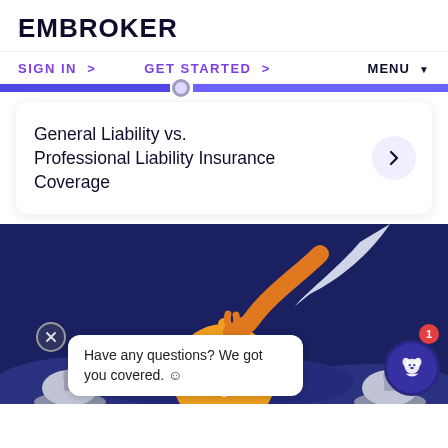EMBROKER
SIGN IN >   GET STARTED >   MENU ▼
General Liability vs. Professional Liability Insurance Coverage
[Figure (illustration): Illustration of a hand holding a pocket watch with a shield icon on a dark blue background with decorative domed shapes. A chat bubble overlay reads 'Have any questions? We got you covered. ☺'. A dog icon badge with a red notification badge showing '1' appears in the bottom right corner.]